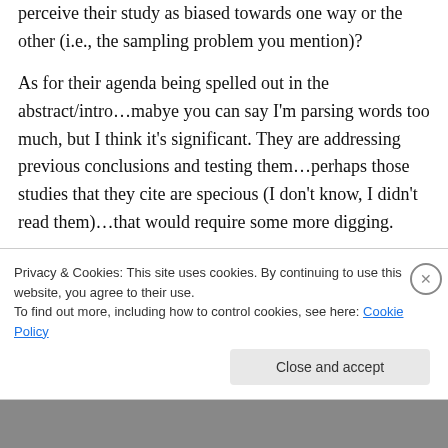perceive their study as biased towards one way or the other (i.e., the sampling problem you mention)?
As for their agenda being spelled out in the abstract/intro…mabye you can say I'm parsing words too much, but I think it's significant. They are addressing previous conclusions and testing them…perhaps those studies that they cite are specious (I don't know, I didn't read them)…that would require some more digging.
Privacy & Cookies: This site uses cookies. By continuing to use this website, you agree to their use.
To find out more, including how to control cookies, see here: Cookie Policy